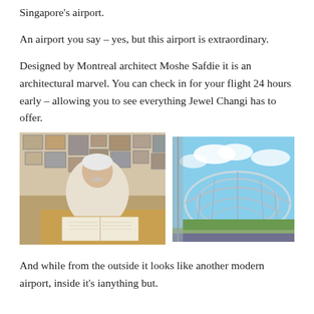Singapore's airport.
An airport you say – yes, but this airport is extraordinary.
Designed by Montreal architect Moshe Safdie it is an architectural marvel. You can check in for your flight 24 hours early – allowing you to see everything Jewel Changi has to offer.
[Figure (photo): Portrait of a white-haired older man in a white shirt sitting at a desk with an open book, surrounded by framed photos and artworks on the wall behind him.]
[Figure (photo): Exterior view of Jewel Changi airport's distinctive dome-shaped glass and steel roof structure, seen from a building nearby with greenery and roads visible below.]
And while from the outside it looks like another modern airport, inside it's ianything but.